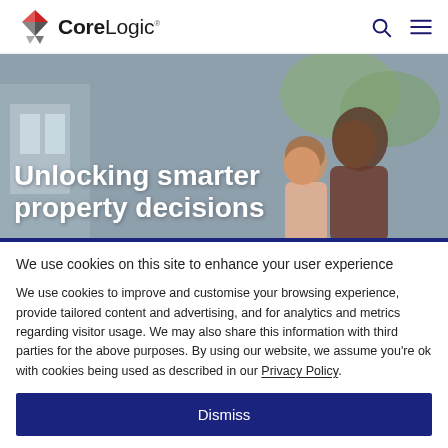[Figure (logo): CoreLogic logo with diamond/prism icon in red and grey, followed by the text CoreLogic with trademark symbol]
[Figure (photo): Hero banner photo of a father and young daughter smiling together outdoors near a home, with large white bold text overlay reading 'Unlocking smarter property decisions']
Unlocking smarter property decisions
We use cookies on this site to enhance your user experience
We use cookies to improve and customise your browsing experience, provide tailored content and advertising, and for analytics and metrics regarding visitor usage. We may also share this information with third parties for the above purposes. By using our website, we assume you're ok with cookies being used as described in our Privacy Policy.
Dismiss